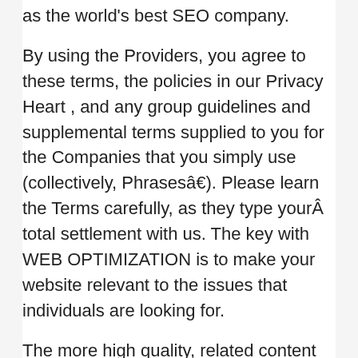as the world's best SEO company.
By using the Providers, you agree to these terms, the policies in our Privacy Heart , and any group guidelines and supplemental terms supplied to you for the Companies that you simply use (collectively, Phrasesâ€). Please learn the Terms carefully, as they type yourÂ total settlement with us. The key with WEB OPTIMIZATION is to make your website relevant to the issues that individuals are looking for.
The more high quality, related content material items that you've in your website, the extra possible search engines like google and yahoo can be to rank your pages increased on the